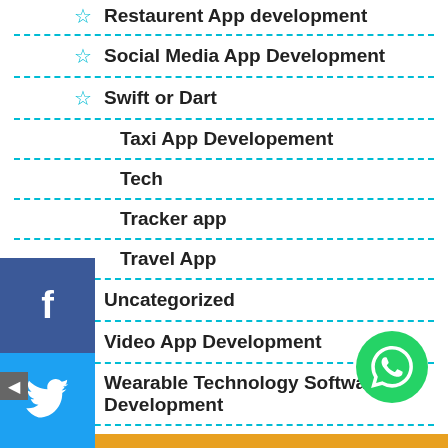Restaurant App development
Social Media App Development
Swift or Dart
Taxi App Developement
Tech
Tracker app
Travel App
Uncategorized
Video App Development
Wearable Technology Software Development
Wedding App Development